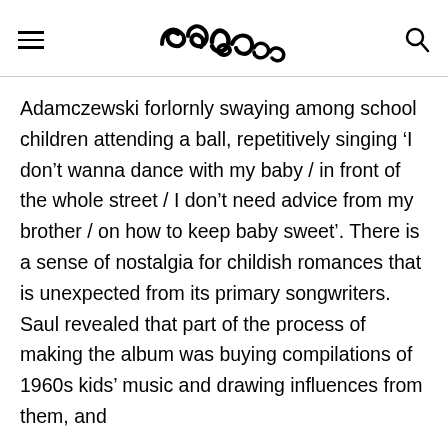[Navigation bar with hamburger menu, logo, and search icon]
Adamczewski forlornly swaying among school children attending a ball, repetitively singing ‘I don’t wanna dance with my baby / in front of the whole street / I don’t need advice from my brother / on how to keep baby sweet’. There is a sense of nostalgia for childish romances that is unexpected from its primary songwriters. Saul revealed that part of the process of making the album was buying compilations of 1960s kids’ music and drawing influences from them, and